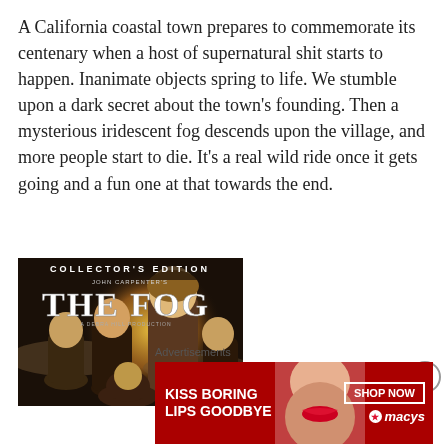A California coastal town prepares to commemorate its centenary when a host of supernatural shit starts to happen. Inanimate objects spring to life. We stumble upon a dark secret about the town's founding. Then a mysterious iridescent fog descends upon the village, and more people start to die. It's a real wild ride once it gets going and a fun one at that towards the end.
[Figure (photo): Movie poster/DVD cover for 'The Fog' Collector's Edition by John Carpenter, showing several characters against a dark foggy background with a glowing orb]
[Figure (illustration): Close button (X in circle) in bottom right area]
Advertisements
[Figure (screenshot): Advertisement banner: 'KISS BORING LIPS GOODBYE' with a woman's face showing red lips, and a 'SHOP NOW' button with Macy's star logo, red background]